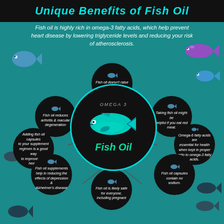Unique Benefits of Fish Oil
Fish oil is highly rich in omega-3 fatty acids, which help prevent heart disease by lowering triglyceride levels and reducing your risk of atherosclerosis.
[Figure (infographic): Circular infographic showing 7 satellite circles around a central 'Omega 3 / Fish Oil' circle with a tuna fish illustration. Each satellite contains a benefit of fish oil: 1) Fish oil doesn't raise high-density lipoprotein, 2) Taking fish oil might be helpful if you eat red meat., 3) Omega-6 fatty acids are essential for health when kept in proper ratio to omega-3 fatty acids., 4) Fish oil capsules contain no sodium., 5) Fish oil is likely safe for everyone, including pregnant, 6) Fish oil supplements help in reducing the effects of depression & Alzheimer's disease, 7) Adding fish oil capsules to your supplement regimen is a good way to improve your health, 8) Fish oil reduces arthritis & macular degeneration. Decorative fish silhouettes in blue, purple, and dark gray surround the infographic.]